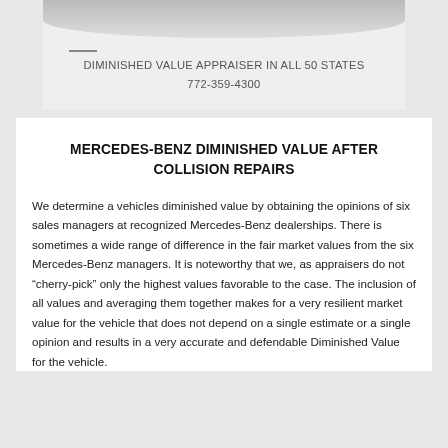[Figure (photo): Partial view of a vehicle (car), cropped at top, light gray background]
DIMINISHED VALUE APPRAISER IN ALL 50 STATES
772-359-4300
MERCEDES-BENZ DIMINISHED VALUE AFTER COLLISION REPAIRS
We determine a vehicles diminished value by obtaining the opinions of six sales managers at recognized Mercedes-Benz dealerships. There is sometimes a wide range of difference in the fair market values from the six Mercedes-Benz managers. It is noteworthy that we, as appraisers do not “cherry-pick” only the highest values favorable to the case. The inclusion of all values and averaging them together makes for a very resilient market value for the vehicle that does not depend on a single estimate or a single opinion and results in a very accurate and defendable Diminished Value for the vehicle.